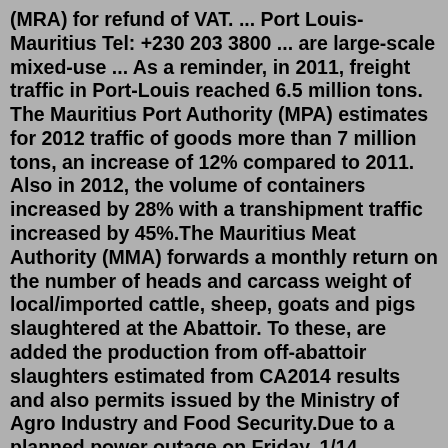(MRA) for refund of VAT. ... Port Louis- Mauritius Tel: +230 203 3800 ... are large-scale mixed-use ... As a reminder, in 2011, freight traffic in Port-Louis reached 6.5 million tons. The Mauritius Port Authority (MPA) estimates for 2012 traffic of goods more than 7 million tons, an increase of 12% compared to 2011. Also in 2012, the volume of containers increased by 28% with a transhipment traffic increased by 45%.The Mauritius Meat Authority (MMA) forwards a monthly return on the number of heads and carcass weight of local/imported cattle, sheep, goats and pigs slaughtered at the Abattoir. To these, are added the production from off-abattoir slaughters estimated from CA2014 results and also permits issued by the Ministry of Agro Industry and Food Security.Due to a planned power outage on Friday, 1/14, between 8am-1pm PST, some services may be impacted.If application is approved, for Bioresearch activities a fee of SBD$1,000 needs to be paid at the Finance Ministry. If research is for bio-